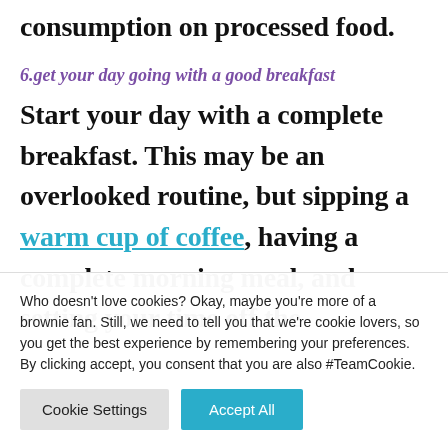consumption on processed food.
6.get your day going with a good breakfast
Start your day with a complete breakfast. This may be an overlooked routine, but sipping a warm cup of coffee, having a complete morning meal, and setting your time off the
Who doesn't love cookies? Okay, maybe you're more of a brownie fan. Still, we need to tell you that we're cookie lovers, so you get the best experience by remembering your preferences. By clicking accept, you consent that you are also #TeamCookie.